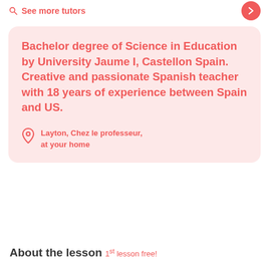See more tutors
Bachelor degree of Science in Education by University Jaume I, Castellon Spain. Creative and passionate Spanish teacher with 18 years of experience between Spain and US.
Layton, Chez le professeur, at your home
About the lesson
1st lesson free!